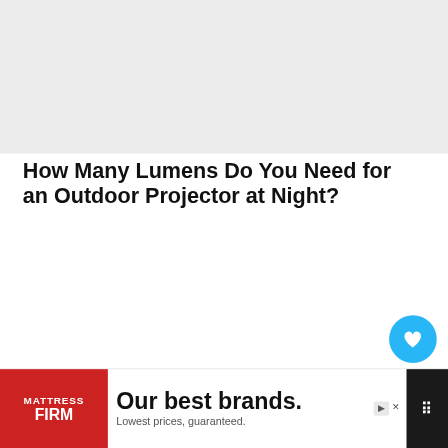[Figure (photo): Top area image/banner area (light gray background, cropped photo)]
How Many Lumens Do You Need for an Outdoor Projector at Night?
Luckily, all those conversations around ambient light brightness aren't super relevant at night! It seems silly to say, but since we're making a point to address daylight projector use...
[Figure (infographic): Social sidebar with heart/like button (blue circle, count 1) and share button]
[Figure (photo): What's Next widget: small circular photo with label 'WHAT'S NEXT' and text 'Using a Projector...']
[Figure (infographic): Advertisement banner: Mattress Firm 'Our best brands. Lowest prices, guaranteed.']